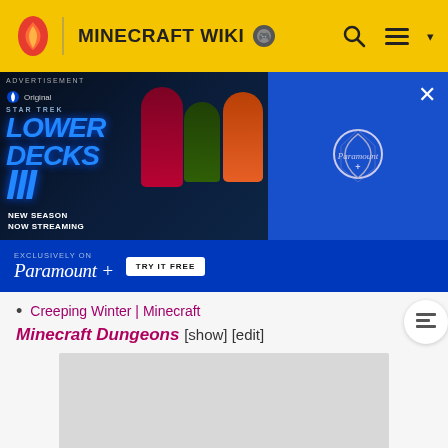MINECRAFT WIKI
[Figure (screenshot): Advertisement banner for Star Trek Lower Decks Season 3 on Paramount+, showing animated characters and 'NEW SEASON NOW STREAMING' text, with 'EXCLUSIVELY ON Paramount+ TRY IT FREE' button]
Creeping Winter | Minecraft
Minecraft Dungeons [show] [edit]
[Figure (screenshot): Gray advertisement placeholder rectangle]
ADVERTISEMENT